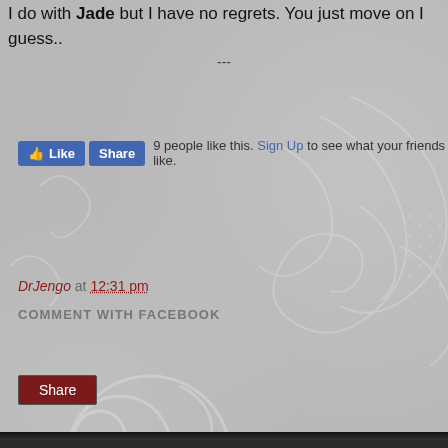I do with Jade but I have no regrets. You just move on I guess..
---
[Figure (screenshot): Facebook Like and Share buttons with text: 9 people like this. Sign Up to see what your friends like.]
DrJengo at 12:31 pm
COMMENT WITH FACEBOOK
[Figure (screenshot): Share button (dark red)]
[Figure (screenshot): Navigation bar with left arrow, Home button, right arrow]
View web version
ABOUT ME
DrJengo
View my complete profile